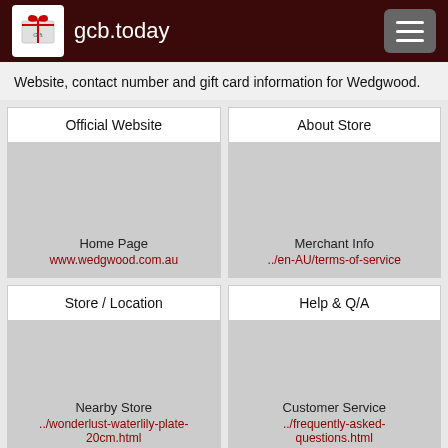gcb.today
Website, contact number and gift card information for Wedgwood.
| Official Website | About Store |
| --- | --- |
| Home Page
www.wedgwood.com.au | Merchant Info
../en-AU/terms-of-service |
| Store / Location | Help & Q/A |
| --- | --- |
| Nearby Store
../wonderlust-waterlily-plate-20cm.html | Customer Service
../frequently-asked-questions.html |